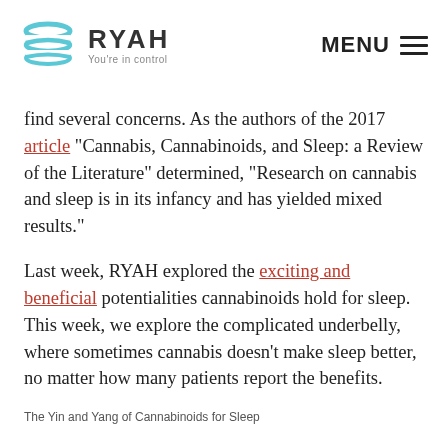RYAH — You're in control | MENU
find several concerns. As the authors of the 2017 article “Cannabis, Cannabinoids, and Sleep: a Review of the Literature” determined, “Research on cannabis and sleep is in its infancy and has yielded mixed results.”
Last week, RYAH explored the exciting and beneficial potentialities cannabinoids hold for sleep. This week, we explore the complicated underbelly, where sometimes cannabis doesn’t make sleep better, no matter how many patients report the benefits.
The Yin and Yang of Cannabinoids for Sleep
Although patients rely heavily on cannabis to